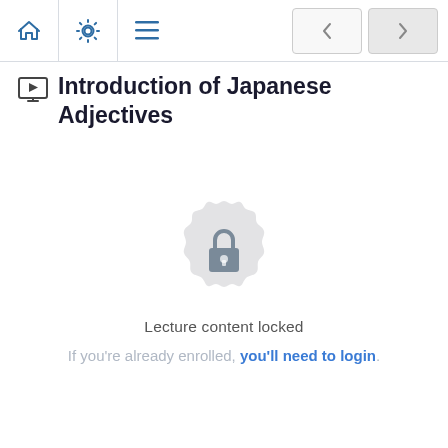Navigation bar with home, settings, menu icons and prev/next buttons
Introduction of Japanese Adjectives
[Figure (illustration): Locked content badge: a circular gear/rosette shape in light gray with a padlock icon in the center]
Lecture content locked
If you're already enrolled, you'll need to login.